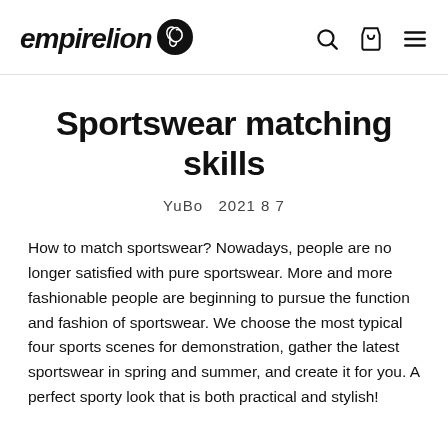empirelion [logo with bird icon] [search icon] [bag icon] [menu icon]
Sportswear matching skills
YuBo  2021 8 7
How to match sportswear? Nowadays, people are no longer satisfied with pure sportswear. More and more fashionable people are beginning to pursue the function and fashion of sportswear. We choose the most typical four sports scenes for demonstration, gather the latest sportswear in spring and summer, and create it for you. A perfect sporty look that is both practical and stylish!